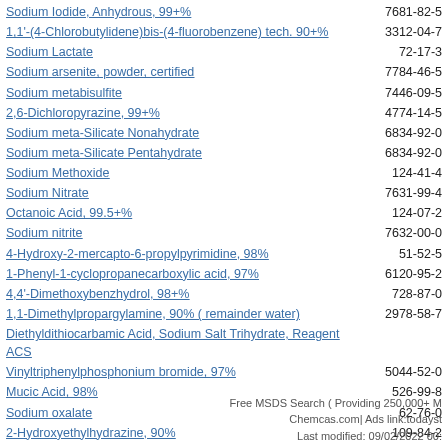Sodium Iodide, Anhydrous, 99+%
1,1'-(4-Chlorobutylidene)bis-(4-fluorobenzene) tech. 90+%
Sodium Lactate
Sodium arsenite, powder, certified
Sodium metabisulfite
2,6-Dichloropyrazine, 99+%
Sodium meta-Silicate Nonahydrate
Sodium meta-Silicate Pentahydrate
Sodium Methoxide
Sodium Nitrate
Octanoic Acid, 99.5+%
Sodium nitrite
4-Hydroxy-2-mercapto-6-propylpyrimidine, 98%
1-Phenyl-1-cyclopropanecarboxylic acid, 97%
4,4'-Dimethoxybenzhydrol, 98+%
1,1-Dimethylpropargylamine, 90% ( remainder water)
Diethyldithiocarbamic Acid, Sodium Salt Trihydrate, Reagent ACS
Vinyltriphenylphosphonium bromide, 97%
Mucic Acid, 98%
Sodium oxalate
2-Hydroxyethylhydrazine, 90%
Free MSDS Search ( Providing 250,000+ M Chemcas.com| Ads link:todayst Last modified: 09/02/2022 00: